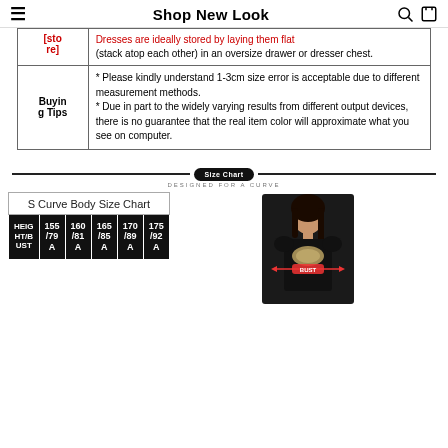Shop New Look
|  |  |
| --- | --- |
| [sto re] | Dresses are ideally stored by laying them flat (stack atop each other) in an oversize drawer or dresser chest. |
| Buying Tips | * Please kindly understand 1-3cm size error is acceptable due to different measurement methods.
* Due in part to the widely varying results from different output devices, there is no guarantee that the real item color will approximate what you see on computer. |
[Figure (other): Size Chart divider with badge reading 'Size Chart' and subtitle 'DESIGNED FOR A CURVE']
| HEIGHT/BUST | 155/79A | 160/81A | 165/85A | 170/89A | 175/92A |
| --- | --- | --- | --- | --- | --- |
[Figure (photo): Woman wearing a black dress with decorative chest detail, shown from upper body with a measuring tape illustration across the bust]